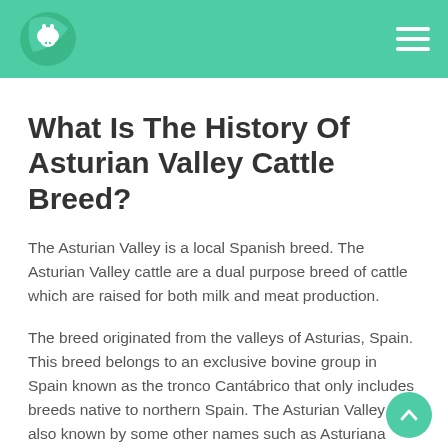Navigation header with logo and hamburger menu
What Is The History Of Asturian Valley Cattle Breed?
The Asturian Valley is a local Spanish breed. The Asturian Valley cattle are a dual purpose breed of cattle which are raised for both milk and meat production.
The breed originated from the valleys of Asturias, Spain. This breed belongs to an exclusive bovine group in Spain known as the tronco Cantábrico that only includes breeds native to northern Spain. The Asturian Valley is also known by some other names such as Asturiana Occidental, Asturiana de los Valles and